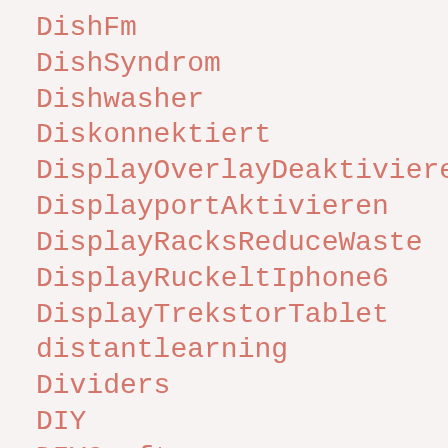DishFm
DishSyndrom
Dishwasher
Diskonnektiert
DisplayOverlayDeaktivierenAndroid
DisplayportAktivieren
DisplayRacksReduceWaste
DisplayRuckeltIphone6
DisplayTrekstorTablet
distantlearning
Dividers
DIY
DIYCrafts
DIYCraftsTutorials
DIYHomeDecor